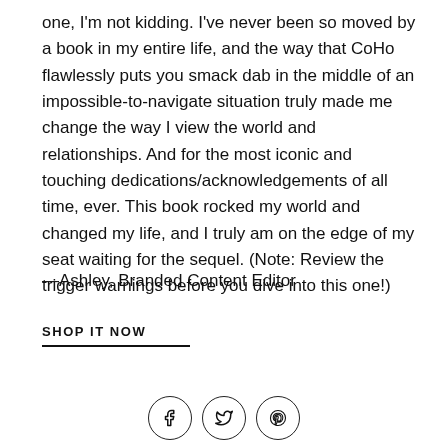one, I'm not kidding. I've never been so moved by a book in my entire life, and the way that CoHo flawlessly puts you smack dab in the middle of an impossible-to-navigate situation truly made me change the way I view the world and relationships. And for the most iconic and touching dedications/acknowledgements of all time, ever. This book rocked my world and changed my life, and I truly am on the edge of my seat waiting for the sequel. (Note: Review the trigger warnings before you dive into this one!)
—Ashley, Branded Content Editor
SHOP IT NOW
[Figure (other): Three circular social media icons: Facebook (f), Twitter (bird), Pinterest (p)]